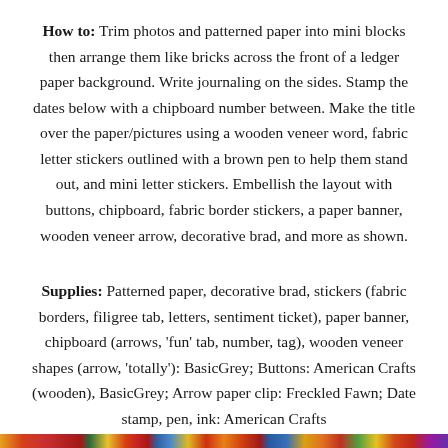How to: Trim photos and patterned paper into mini blocks then arrange them like bricks across the front of a ledger paper background. Write journaling on the sides. Stamp the dates below with a chipboard number between. Make the title over the paper/pictures using a wooden veneer word, fabric letter stickers outlined with a brown pen to help them stand out, and mini letter stickers. Embellish the layout with buttons, chipboard, fabric border stickers, a paper banner, wooden veneer arrow, decorative brad, and more as shown.
Supplies: Patterned paper, decorative brad, stickers (fabric borders, filigree tab, letters, sentiment ticket), paper banner, chipboard (arrows, 'fun' tab, number, tag), wooden veneer shapes (arrow, 'totally'): BasicGrey; Buttons: American Crafts (wooden), BasicGrey; Arrow paper clip: Freckled Fawn; Date stamp, pen, ink: American Crafts